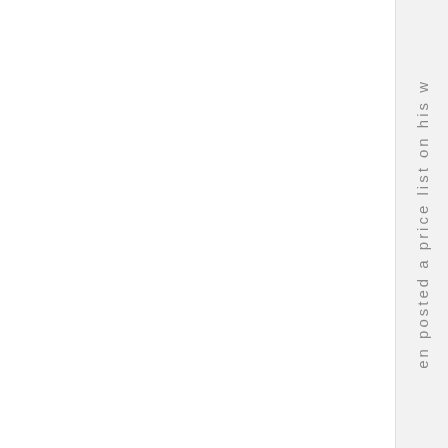en posted a price list on his w